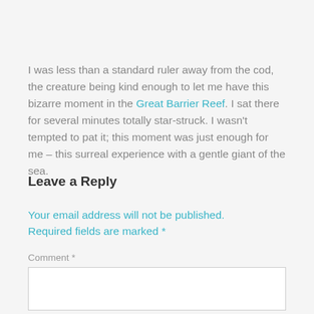I was less than a standard ruler away from the cod, the creature being kind enough to let me have this bizarre moment in the Great Barrier Reef. I sat there for several minutes totally star-struck. I wasn't tempted to pat it; this moment was just enough for me – this surreal experience with a gentle giant of the sea.
Leave a Reply
Your email address will not be published. Required fields are marked *
Comment *